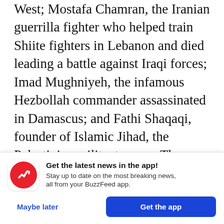West; Mostafa Chamran, the Iranian guerrilla fighter who helped train Shiite fighters in Lebanon and died leading a battle against Iraqi forces; Imad Mughniyeh, the infamous Hezbollah commander assassinated in Damascus; and Fathi Shaqaqi, founder of Islamic Jihad, the Palestinian militant group. They focused on infantry training, commando, and rapid-response operations. During one training course, fighters were dropped off in the wilderness and forced to survive for weeks.
Specialized training included firing medium-range
[Figure (other): BuzzFeed app promotional banner with red circular logo containing a white upward arrow, bold headline 'Get the latest news in the app!', subtext 'Stay up to date on the most breaking news, all from your BuzzFeed app.', 'Maybe later' text button and 'Get the app' blue button]